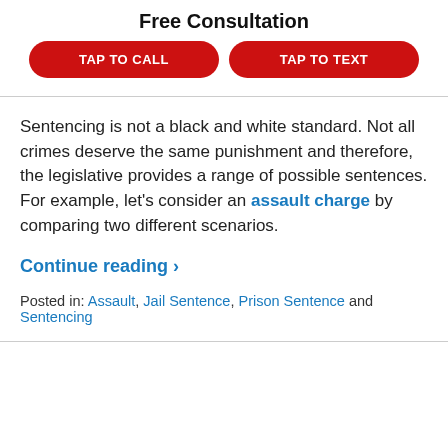Free Consultation
TAP TO CALL | TAP TO TEXT
Sentencing is not a black and white standard. Not all crimes deserve the same punishment and therefore, the legislative provides a range of possible sentences. For example, let's consider an assault charge by comparing two different scenarios.
Continue reading ›
Posted in: Assault, Jail Sentence, Prison Sentence and Sentencing